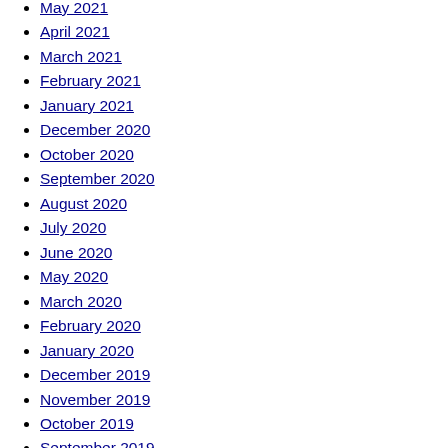May 2021
April 2021
March 2021
February 2021
January 2021
December 2020
October 2020
September 2020
August 2020
July 2020
June 2020
May 2020
March 2020
February 2020
January 2020
December 2019
November 2019
October 2019
September 2019
August 2019
July 2019
September 2015
Categories